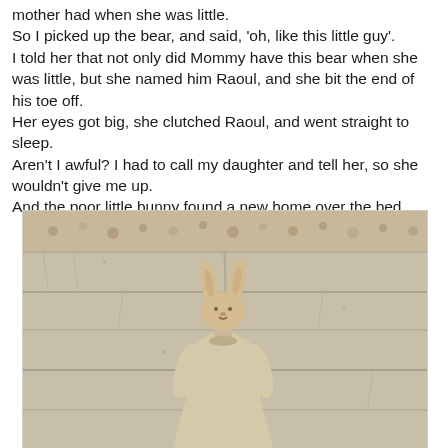mother had when she was little.
So I picked up the bear, and said, 'oh, like this little guy'.
I told her that not only did Mommy have this bear when she was little, but she named him Raoul, and she bit the end of his toe off.
Her eyes got big, she clutched Raoul, and went straight to sleep.
Aren't I awful? I had to call my daughter and tell her, so she wouldn't give me up.
And the poor little bunny found a new home over the bed.
[Figure (photo): A stuffed bunny doll wearing a cream-colored dress, propped against a weathered white wooden wall. Above the wall panels is a floral wallpaper border.]